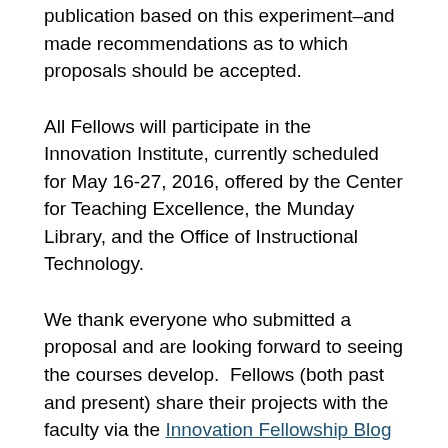publication based on this experiment–and made recommendations as to which proposals should be accepted.
All Fellows will participate in the Innovation Institute, currently scheduled for May 16-27, 2016, offered by the Center for Teaching Excellence, the Munday Library, and the Office of Instructional Technology.
We thank everyone who submitted a proposal and are looking forward to seeing the courses develop.  Fellows (both past and present) share their projects with the faculty via the Innovation Fellowship Blog as well as through events organized by the Center for Teaching Excellence and the Office of Instructional Technology.